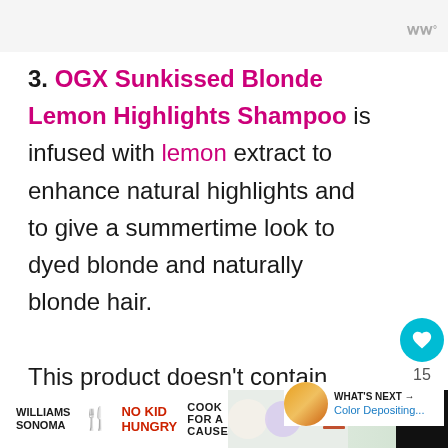WW°
3. OGX Sunkissed Blonde Lemon Highlights Shampoo is infused with lemon extract to enhance natural highlights and to give a summertime look to dyed blonde and naturally blonde hair.

This product doesn't contain ammonia or peroxide and doesn't need exposure to sunlight to enhance the bleaching effect.
[Figure (other): Heart/like button (teal circle with heart icon) showing 15 likes, and a share button]
[Figure (other): What's Next callout: circular thumbnail of blonde hair product, text 'WHAT'S NEXT → Color Depositing...']
[Figure (other): Footer advertisement: Williams Sonoma No Kid Hungry Cook For A Cause banner ad with colorful cookie images]